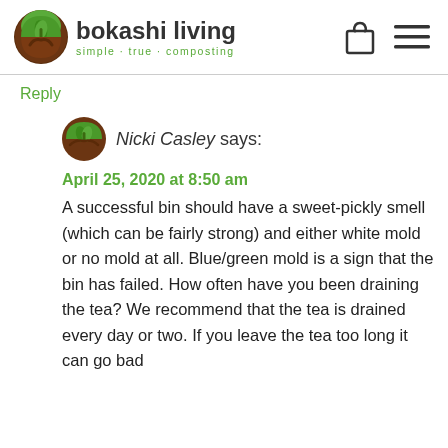[Figure (logo): Bokashi Living logo: circular brown and green icon with plant sprout, next to text 'bokashi living' with tagline 'simple · true · composting']
Reply
[Figure (logo): Small bokashi living circular avatar icon]
Nicki Casley says:
April 25, 2020 at 8:50 am
A successful bin should have a sweet-pickly smell (which can be fairly strong) and either white mold or no mold at all. Blue/green mold is a sign that the bin has failed. How often have you been draining the tea? We recommend that the tea is drained every day or two. If you leave the tea too long it can go bad